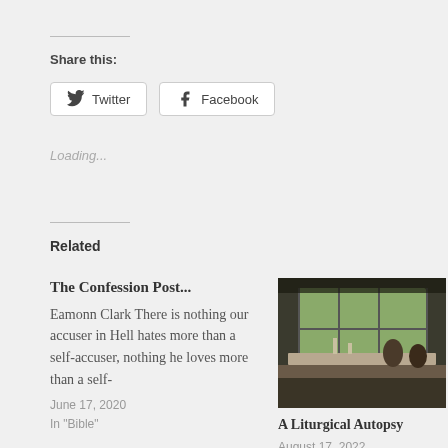Share this:
Twitter  Facebook
Loading...
Related
The Confession Post... Eamonn Clark There is nothing our accuser in Hell hates more than a self-accuser, nothing he loves more than a self-
June 17, 2020
In "Bible"
[Figure (photo): Interior photo showing a chapel or meeting room with large windows, tables with candles or decorations, and people seated in the background.]
A Liturgical Autopsy
August 17, 2022
In "Liturgy"